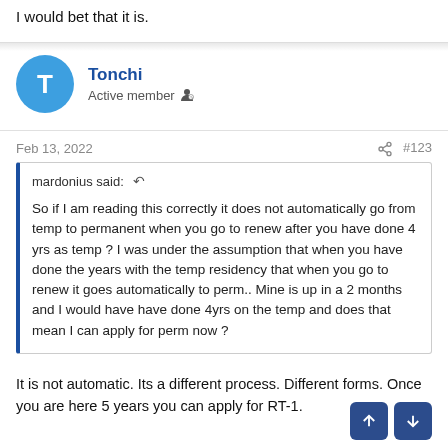I would bet that it is.
Tonchi
Active member
Feb 13, 2022  #123
mardonius said:
So if I am reading this correctly it does not automatically go from temp to permanent when you go to renew after you have done 4 yrs as temp ? I was under the assumption that when you have done the years with the temp residency that when you go to renew it goes automatically to perm.. Mine is up in a 2 months and I would have have done 4yrs on the temp and does that mean I can apply for perm now ?
It is not automatic. Its a different process. Different forms. Once you are here 5 years you can apply for RT-1.